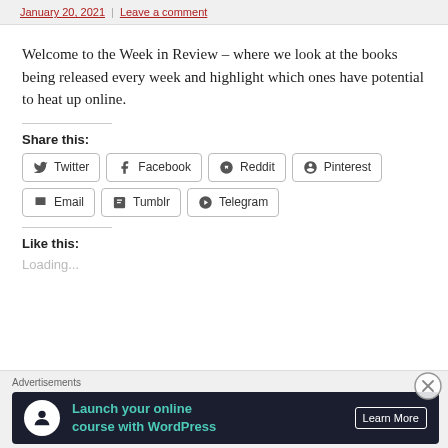January 20, 2021 | Leave a comment
Welcome to the Week in Review – where we look at the books being released every week and highlight which ones have potential to heat up online.
Share this:
[Figure (other): Social share buttons: Twitter, Facebook, Reddit, Pinterest, Email, Tumblr, Telegram]
Like this:
Loading...
Advertisements
[Figure (other): Ad banner: Launch your online course with WordPress – Learn More]